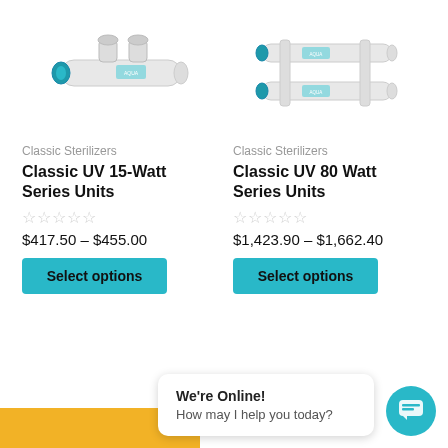[Figure (photo): Classic UV 15-Watt Series Unit: white PVC UV sterilizer with blue fitting on left end]
[Figure (photo): Classic UV 80 Watt Series Unit: white dual-tube UV sterilizer with blue fittings and branded label]
Classic Sterilizers
Classic UV 15-Watt Series Units
★★★★★ (empty stars rating)
$417.50 – $455.00
Select options
Classic Sterilizers
Classic UV 80 Watt Series Units
★★★★★ (empty stars rating)
$1,423.90 – $1,662.40
Select options
We're Online!
How may I help you today?